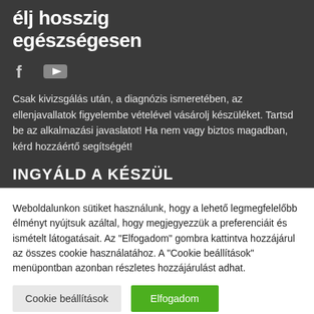[Figure (logo): Website logo with stylized figure icon and text 'élj hosszig egészségesen' in white on dark background]
[Figure (other): Social media icons: Facebook (f) and YouTube (play button) in grey/white on dark background]
Csak kivizsgálás után, a diagnózis ismeretében, az ellenjavallatok figyelembe vételével vásárolj készüléket. Tartsd be az alkalmazási javaslatot! Ha nem vagy biztos magadban, kérd hozzáértő segítségét!
Weboldalunkon sütiket használunk, hogy a lehető legmegfelelőbb élményt nyújtsuk azáltal, hogy megjegyezzük a preferenciáit és ismételt látogatásait. Az "Elfogadom" gombra kattintva hozzájárul az összes cookie használatához. A "Cookie beállítások" menüpontban azonban részletes hozzájárulást adhat.
Cookie beállítások
Elfogadom